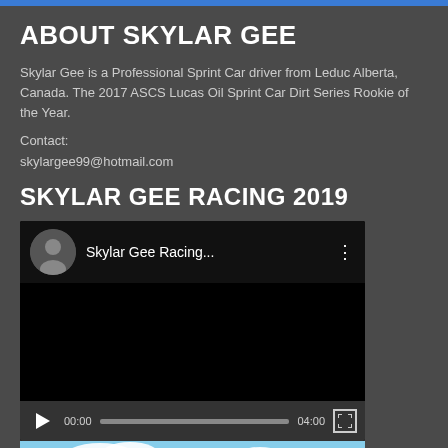ABOUT SKYLAR GEE
Skylar Gee is a Professional Sprint Car driver from Leduc Alberta, Canada.  The 2017 ASCS Lucas Oil Sprint Car Dirt Series Rookie of the Year.
Contact:
skylargee99@hotmail.com
SKYLAR GEE RACING 2019
[Figure (screenshot): Embedded video player showing 'Skylar Gee Racing...' with a man avatar, black video area, play button, timestamp 00:00, progress bar, duration 04:00, and fullscreen button]
[Figure (photo): Bottom of page shows a photo with blue sky and clouds and Ollie's Bargain Outlet sign/logo]